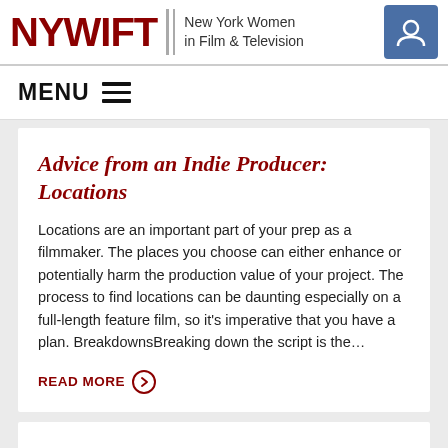NYWIFT | New York Women in Film & Television
MENU
Advice from an Indie Producer: Locations
Locations are an important part of your prep as a filmmaker. The places you choose can either enhance or potentially harm the production value of your project. The process to find locations can be daunting especially on a full-length feature film, so it's imperative that you have a plan. BreakdownsBreaking down the script is the…
READ MORE →